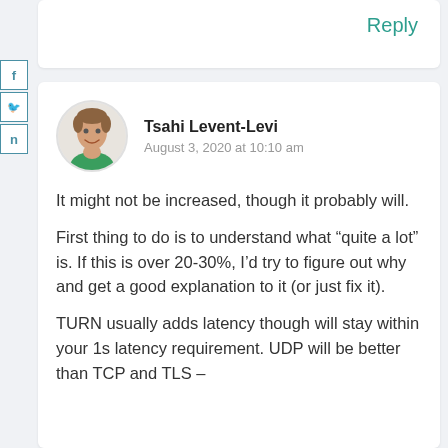Reply
[Figure (illustration): Social media share buttons on left sidebar: f (Facebook), bird (Twitter), n (LinkedIn)]
Tsahi Levent-Levi
August 3, 2020 at 10:10 am
It might not be increased, though it probably will.
First thing to do is to understand what “quite a lot” is. If this is over 20-30%, I’d try to figure out why and get a good explanation to it (or just fix it).
TURN usually adds latency though will stay within your 1s latency requirement. UDP will be better than TCP and TLS –